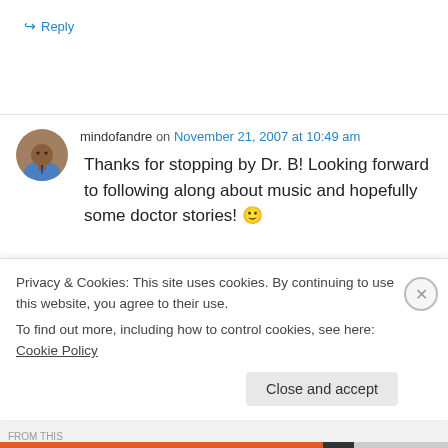↪ Reply
mindofandre on November 21, 2007 at 10:49 am
Thanks for stopping by Dr. B! Looking forward to following along about music and hopefully some doctor stories! 🙂
Privacy & Cookies: This site uses cookies. By continuing to use this website, you agree to their use.
To find out more, including how to control cookies, see here: Cookie Policy
Close and accept